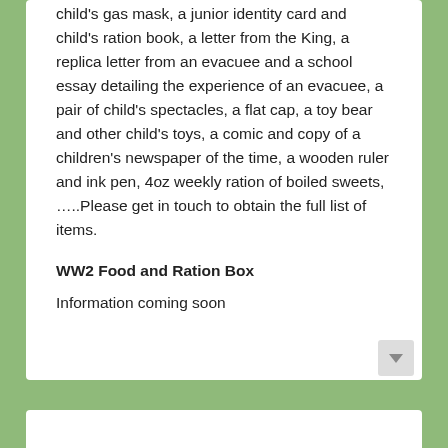child's gas mask, a junior identity card and child's ration book, a letter from the King, a replica letter from an evacuee and a school essay detailing the experience of an evacuee, a pair of child's spectacles, a flat cap, a toy bear and other child's toys, a comic and copy of a children's newspaper of the time, a wooden ruler and ink pen, 4oz weekly ration of boiled sweets, …..Please get in touch to obtain the full list of items.
WW2 Food and Ration Box
Information coming soon